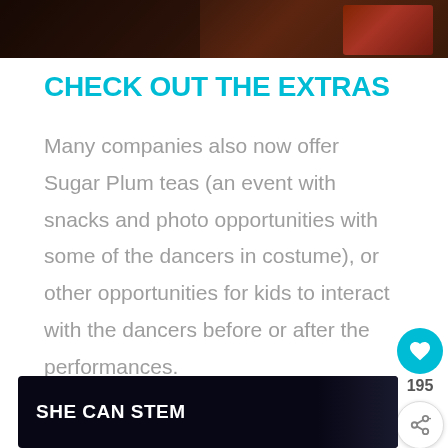[Figure (photo): Dark reddish-brown top image, partial view of a scene]
CHECK OUT THE EXTRAS
Many companies also now offer Sugar Plum teas (an event with snacks and photo opportunities with some of the dancers in costume), or other opportunities for kids to interact with the dancers before or after the performances.
[Figure (screenshot): Advertisement banner with dark background showing 'SHE CAN STEM' text in bold white]